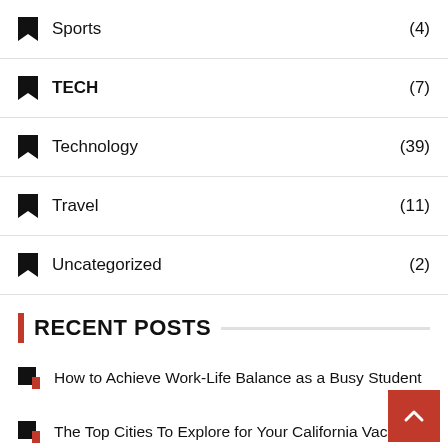Sports (4)
TECH (7)
Technology (39)
Travel (11)
Uncategorized (2)
RECENT POSTS
How to Achieve Work-Life Balance as a Busy Student
The Top Cities To Explore for Your California Vacation
Tips for Running a Thriving Business in the Slow